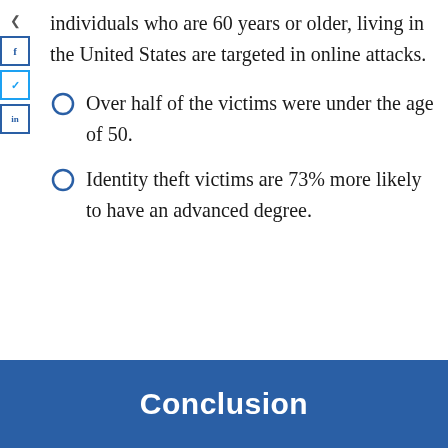individuals who are 60 years or older, living in the United States are targeted in online attacks.
Over half of the victims were under the age of 50.
Identity theft victims are 73% more likely to have an advanced degree.
Conclusion